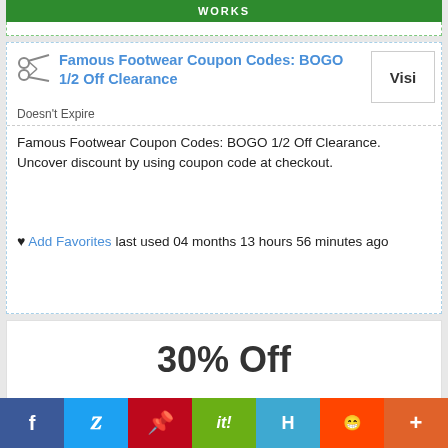WORKS
Famous Footwear Coupon Codes: BOGO 1/2 Off Clearance
Doesn't Expire
Famous Footwear Coupon Codes: BOGO 1/2 Off Clearance. Uncover discount by using coupon code at checkout.
Add Favorites last used 04 months 13 hours 56 minutes ago
30% Off
Deals & Offers
Famous Footwear